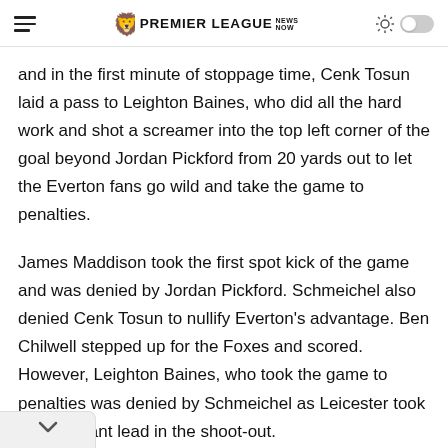PREMIER LEAGUE NEWS NOW
and in the first minute of stoppage time, Cenk Tosun laid a pass to Leighton Baines, who did all the hard work and shot a screamer into the top left corner of the goal beyond Jordan Pickford from 20 yards out to let the Everton fans go wild and take the game to penalties.
James Maddison took the first spot kick of the game and was denied by Jordan Pickford. Schmeichel also denied Cenk Tosun to nullify Everton's advantage. Ben Chilwell stepped up for the Foxes and scored. However, Leighton Baines, who took the game to penalties was denied by Schmeichel as Leicester took an important lead in the shoot-out.